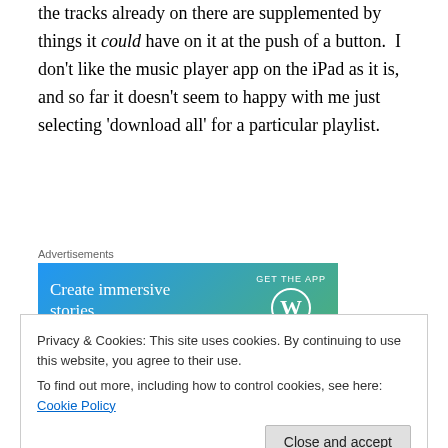the tracks already on there are supplemented by things it could have on it at the push of a button.  I don't like the music player app on the iPad as it is, and so far it doesn't seem to happy with me just selecting 'download all' for a particular playlist.
[Figure (other): Advertisement banner: 'Create immersive stories' with 'GET THE APP' and WordPress logo, on a blue-green gradient background]
My iPhone meanwhile, which has been out and about with me today of course, seems mightily confused about what it
Privacy & Cookies: This site uses cookies. By continuing to use this website, you agree to their use.
To find out more, including how to control cookies, see here: Cookie Policy
All in all, I'd say the process has mostly been a complete